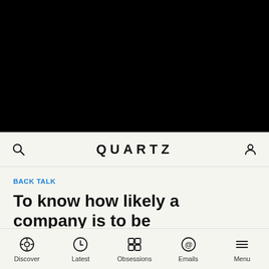[Figure (photo): Black area representing a video or image placeholder at the top of a mobile article page]
QUARTZ
BACK TALK
To know how likely a company is to be investigated, look at its
Discover  Latest  Obsessions  Emails  Menu